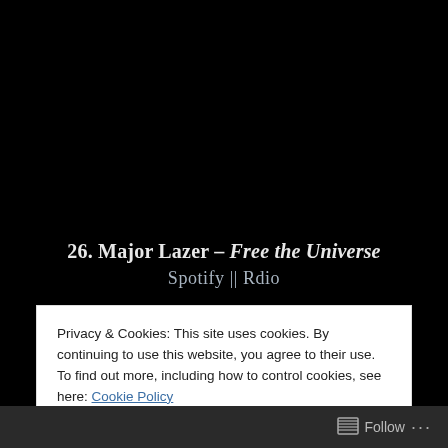26. Major Lazer – Free the Universe
Spotify || Rdio
Privacy & Cookies: This site uses cookies. By continuing to use this website, you agree to their use.
To find out more, including how to control cookies, see here: Cookie Policy
Close and accept
Follow